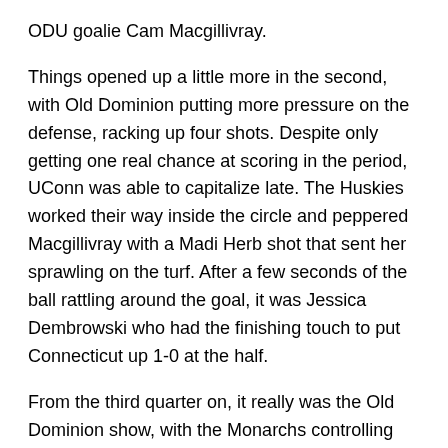ODU goalie Cam Macgillivray.
Things opened up a little more in the second, with Old Dominion putting more pressure on the defense, racking up four shots. Despite only getting one real chance at scoring in the period, UConn was able to capitalize late. The Huskies worked their way inside the circle and peppered Macgillivray with a Madi Herb shot that sent her sprawling on the turf. After a few seconds of the ball rattling around the goal, it was Jessica Dembrowski who had the finishing touch to put Connecticut up 1-0 at the half.
From the third quarter on, it really was the Old Dominion show, with the Monarchs controlling possession and pace of play for the majority of the half. They fired off another four shots in the third period to the Huskies' zero in a dominant showing. The question everyone was asking was not if the